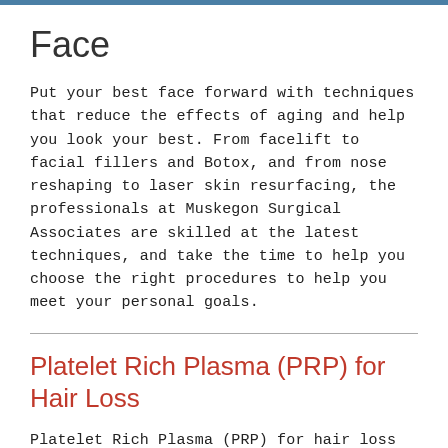Face
Put your best face forward with techniques that reduce the effects of aging and help you look your best. From facelift to facial fillers and Botox, and from nose reshaping to laser skin resurfacing, the professionals at Muskegon Surgical Associates are skilled at the latest techniques, and take the time to help you choose the right procedures to help you meet your personal goals.
Platelet Rich Plasma (PRP) for Hair Loss
Platelet Rich Plasma (PRP) for hair loss is a treatment designed to stimulate hair growth for thinning or balding hair.